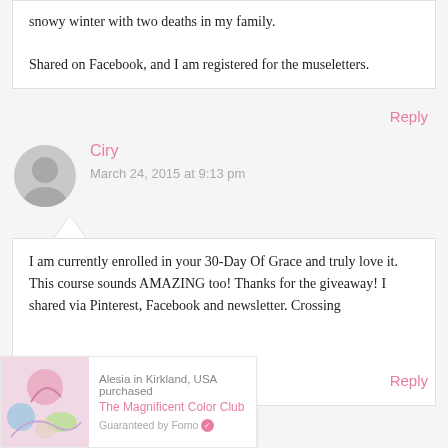snowy winter with two deaths in my family.

Shared on Facebook, and I am registered for the museletters.
Reply
Ciry
March 24, 2015 at 9:13 pm
I am currently enrolled in your 30-Day Of Grace and truly love it. This course sounds AMAZING too! Thanks for the giveaway! I shared via Pinterest, Facebook and newsletter. Crossing
Reply
Alesia in Kirkland, USA purchased
The Magnificent Color Club
Guaranteed by Fomo